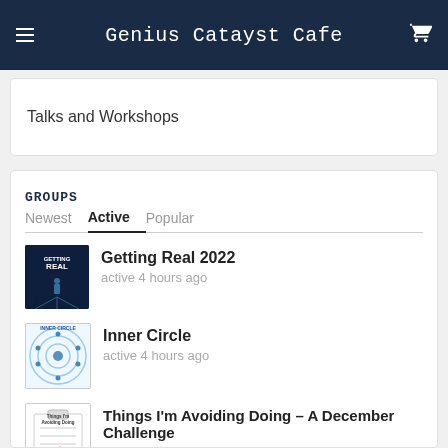Genius Catayst Cafe
Talks and Workshops
GROUPS
Newest  Active  Popular
Getting Real 2022
active 4 hours ago
Inner Circle
active 4 hours ago
Things I'm Avoiding Doing – A December Challenge